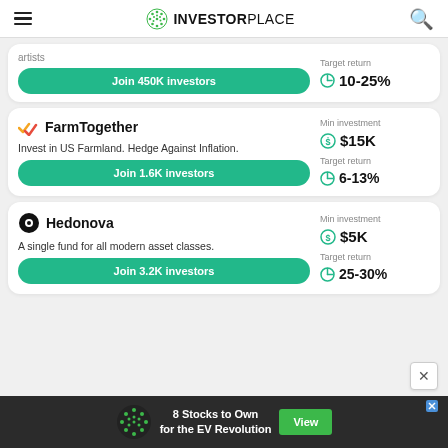INVESTORPLACE
artists
Join 450K investors
Target return 10-25%
FarmTogether
Invest in US Farmland. Hedge Against Inflation.
Join 1.6K investors
Min investment $15K
Target return 6-13%
Hedonova
A single fund for all modern asset classes.
Join 3.2K investors
Min investment $5K
Target return 25-30%
8 Stocks to Own for the EV Revolution